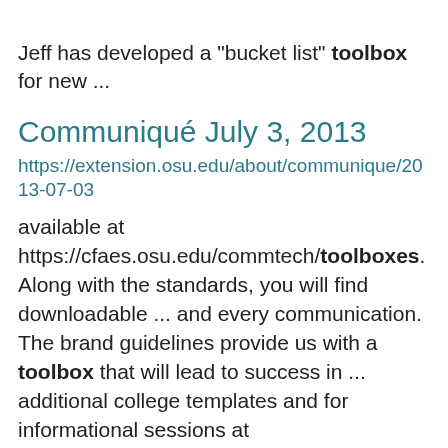Jeff has developed a "bucket list" toolbox for new ...
Communiqué July 3, 2013
https://extension.osu.edu/about/communique/2013-07-03
available at https://cfaes.osu.edu/commtech/toolboxes. Along with the standards, you will find downloadable ... and every communication. The brand guidelines provide us with a toolbox that will lead to success in ... additional college templates and for informational sessions at https://cfaes.osu.edu/commtech/toolboxes.